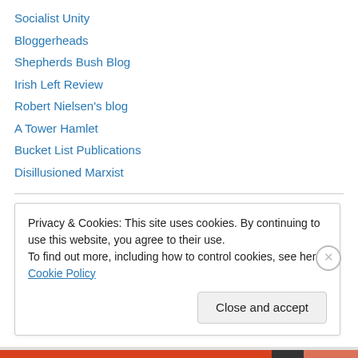Socialist Unity
Bloggerheads
Shepherds Bush Blog
Irish Left Review
Robert Nielsen's blog
A Tower Hamlet
Bucket List Publications
Disillusioned Marxist
Archives
January 2022 (1)
Privacy & Cookies: This site uses cookies. By continuing to use this website, you agree to their use.
To find out more, including how to control cookies, see here: Cookie Policy
Close and accept